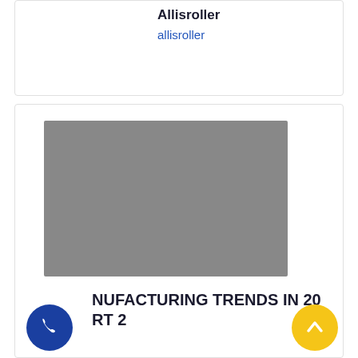Allisroller
allisroller
[Figure (photo): Gray placeholder image for a blog post thumbnail]
MANUFACTURING TRENDS IN 20 RT 2